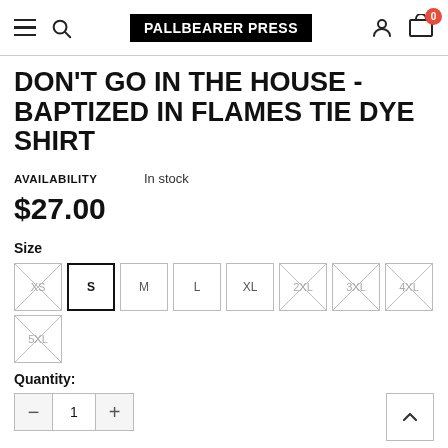PALLBEARER PRESS — navigation bar with hamburger, search, logo, user icon, cart (0)
DON'T GO IN THE HOUSE - BAPTIZED IN FLAMES TIE DYE SHIRT
AVAILABILITY   In stock
$27.00
Size
XS S M L XL 2XL 3XL 4XL 5XL
Quantity:
1